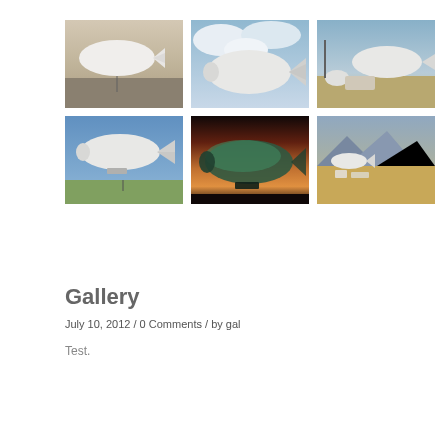[Figure (photo): Grid of 6 photos showing aerostats/blimps in various settings — tethered blimps on ground, blimp in flight against sky, blimp at dusk, aerial views of blimp facilities in desert terrain]
Gallery
July 10, 2012 / 0 Comments / by gal
Test.